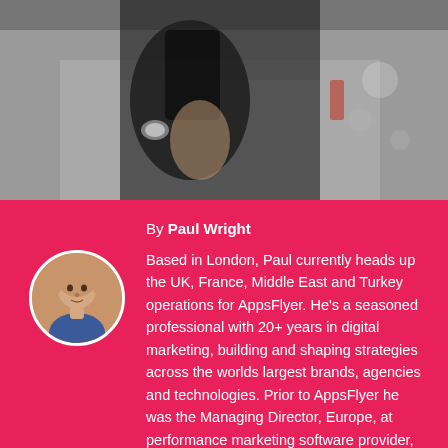[Figure (photo): Person in black t-shirt holding a smartphone, blurred city street background]
By Paul Wright
Based in London, Paul currently heads up the UK, France, Middle East and Turkey operations for AppsFlyer. He's a seasoned professional with 20+ years in digital marketing, building and shaping strategies across the worlds largest brands, agencies and technologies. Prior to AppsFlyer he was the Managing Director, Europe, at performance marketing software provider, CAKE.
[Figure (photo): Circular headshot of Paul Wright, a bald man in a blue shirt]
January 28, 2022